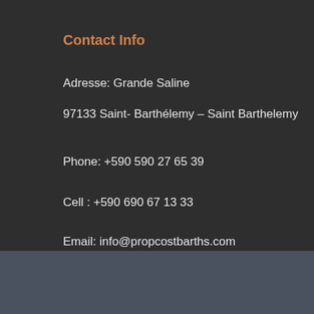Contact Info
Adresse: Grande Saline
97133 Saint- Barthélemy – Saint Barthelemy
Phone: +590 590 27 65 39
Cell : +590 690 67 13 33
Email: info@propcostbarths.com